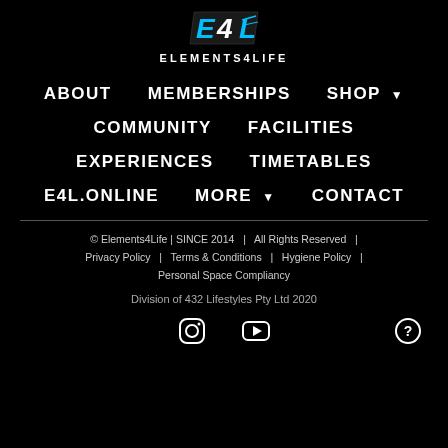[Figure (logo): Elements4Life logo with blue E4L graphic and white ELEMENTS4LIFE text]
ABOUT
MEMBERSHIPS
SHOP ▼
COMMUNITY
FACILITIES
EXPERIENCES
TIMETABLES
E4L.ONLINE
MORE ▼
CONTACT
© Elements4Life | SINCE 2014   |   All Rights Reserved  |  Privacy Policy  |  Terms & Conditions  |  Hygiene Policy  |  Personal Space Compliancy
Division of 432 Lifestyles Pty Ltd 2020